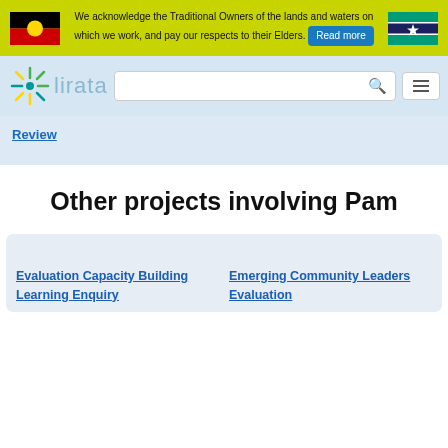We acknowledge the Traditional Owners of the lands and waters on which we work, and pay our respects to their Elders. Read more
[Figure (illustration): Aboriginal flag - black top half, red bottom half, yellow circle in center]
[Figure (illustration): Torres Strait Islander flag - blue with green stripes, white star and headdress symbol]
[Figure (logo): Lirata logo - starburst/snowflake icon in green/yellow/teal colors with the word 'lirata' in light blue text]
Review
Other projects involving Pam
Evaluation Capacity Building Learning Enquiry
Emerging Community Leaders Evaluation